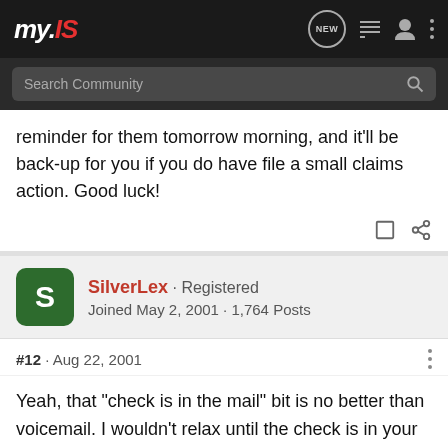my.IS
reminder for them tomorrow morning, and it'll be back-up for you if you do have file a small claims action. Good luck!
SilverLex · Registered
Joined May 2, 2001 · 1,764 Posts
#12 · Aug 22, 2001
Yeah, that "check is in the mail" bit is no better than voicemail. I wouldn't relax until the check is in your hand.